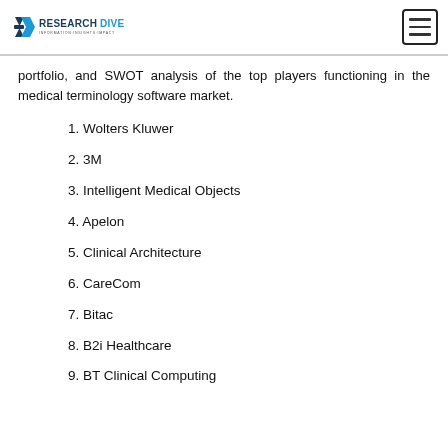Research Dive — INFORMATION·INSIGHTS·IMPACT
portfolio, and SWOT analysis of the top players functioning in the medical terminology software market.
1. Wolters Kluwer
2. 3M
3. Intelligent Medical Objects
4. Apelon
5. Clinical Architecture
6. CareCom
7. Bitac
8. B2i Healthcare
9. BT Clinical Computing